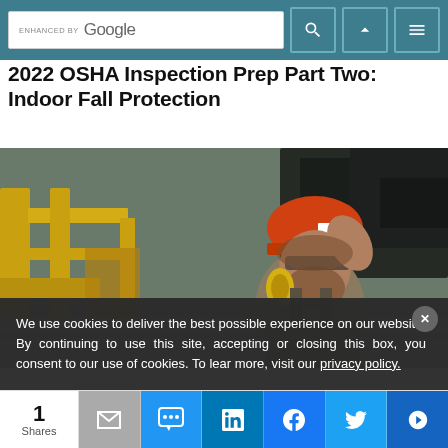ENHANCED BY Google [search bar with icons]
2022 OSHA Inspection Prep Part Two: Indoor Fall Protection
[Figure (photo): A bearded male worker wearing an orange hard hat and yellow ear protection, with hand raised to helmet, in an industrial facility with yellow metal structures in the background.]
We use cookies to deliver the best possible experience on our website. By continuing to use this site, accepting or closing this box, you consent to our use of cookies. To learn more, visit our privacy policy.
1 Shares | Email | SMS | LinkedIn | Facebook | Twitter | Other share buttons